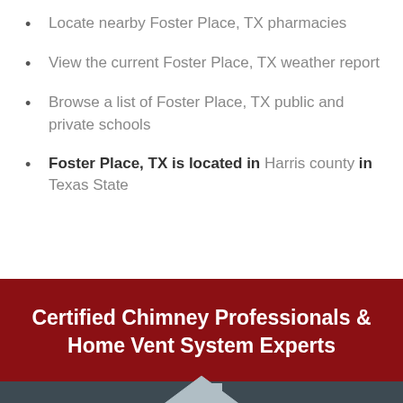Locate nearby Foster Place, TX pharmacies
View the current Foster Place, TX weather report
Browse a list of Foster Place, TX public and private schools
Foster Place, TX is located in Harris county in Texas State
Certified Chimney Professionals & Home Vent System Experts
[Figure (infographic): House icon silhouette on dark slate bar above a dark red Call Now bar with phone icon]